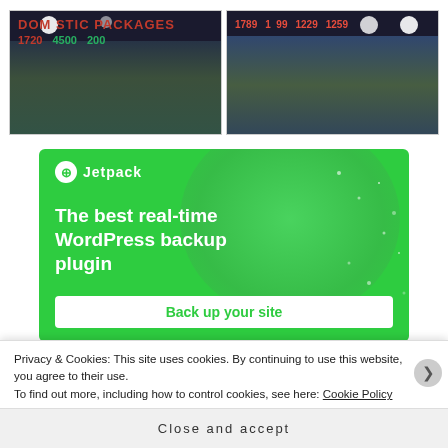[Figure (photo): Two side-by-side photos of travel agency signboards. Left photo shows a 'DOMESTIC PACKAGES' banner with prices like 1720, 4500, 200. Right photo shows international travel packages with prices like 1789, 1299, 1259.]
[Figure (screenshot): Jetpack plugin advertisement banner with green background. Header shows Jetpack logo and name. Text reads 'The best real-time WordPress backup plugin'. Button says 'Back up your site'.]
Privacy & Cookies: This site uses cookies. By continuing to use this website, you agree to their use.
To find out more, including how to control cookies, see here: Cookie Policy
Close and accept